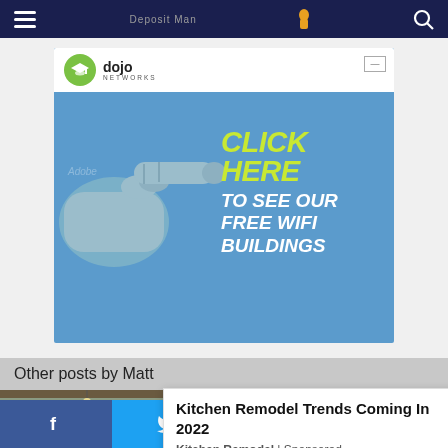Navigation bar with hamburger menu, site logo/bird icon, and search icon
[Figure (illustration): Dojo Networks advertisement banner: blue background with a hand pointing right, 'CLICK HERE TO SEE OUR FREE WIFI BUILDINGS' text in yellow/white, Dojo Networks logo at top]
Other posts by Matt
[Figure (photo): Kitchen interior photo showing modern kitchen with wood cabinets and stainless appliances]
[Figure (infographic): Popup advertisement overlay: Kitchen Remodel Trends Coming In 2022, Kitchen Remodel | Sponsored]
Social sharing bar: Facebook, Twitter, Email, SMS